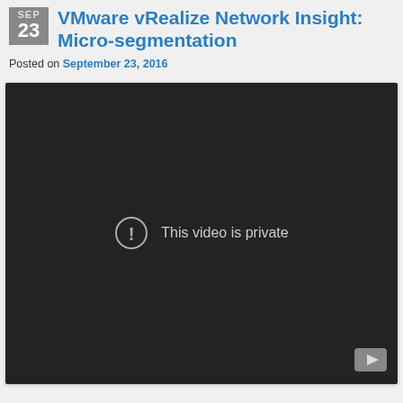VMware vRealize Network Insight: Micro-segmentation
Posted on September 23, 2016
[Figure (screenshot): Embedded video player showing 'This video is private' message with a YouTube logo in the bottom right corner. The video area has a dark background with an exclamation mark icon and the text 'This video is private'.]